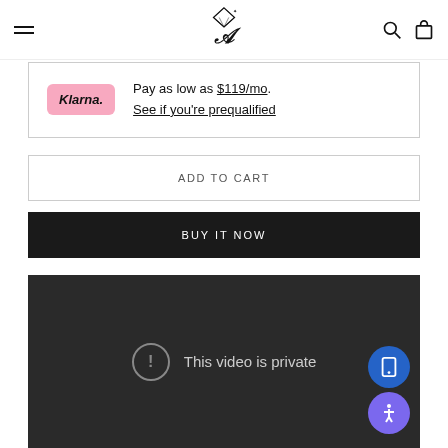[Figure (logo): Diamond/crown script logo for a jewelry/fashion brand in the center of the navigation header]
Pay as low as $119/mo. See if you're prequalified
ADD TO CART
BUY IT NOW
[Figure (screenshot): Embedded video player showing 'This video is private' error message on dark background, with accessibility and mobile widget buttons in the corner]